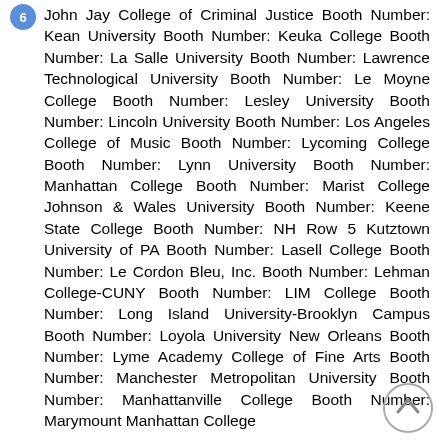John Jay College of Criminal Justice Booth Number: Kean University Booth Number: Keuka College Booth Number: La Salle University Booth Number: Lawrence Technological University Booth Number: Le Moyne College Booth Number: Lesley University Booth Number: Lincoln University Booth Number: Los Angeles College of Music Booth Number: Lycoming College Booth Number: Lynn University Booth Number: Manhattan College Booth Number: Marist College Johnson & Wales University Booth Number: Keene State College Booth Number: NH Row 5 Kutztown University of PA Booth Number: Lasell College Booth Number: Le Cordon Bleu, Inc. Booth Number: Lehman College-CUNY Booth Number: LIM College Booth Number: Long Island University-Brooklyn Campus Booth Number: Loyola University New Orleans Booth Number: Lyme Academy College of Fine Arts Booth Number: Manchester Metropolitan University Booth Number: Manhattanville College Booth Number: Marymount Manhattan College
[Figure (other): Back to top chevron button — circular grey outlined button with upward-pointing chevron arrow]